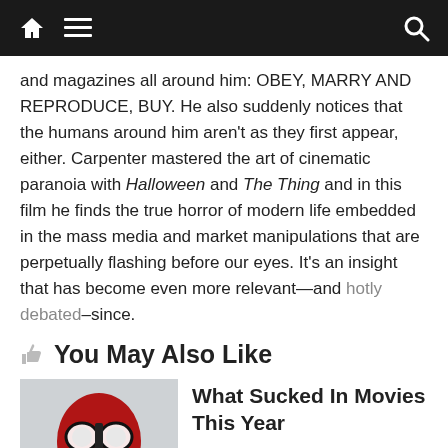Navigation bar with home, menu, and search icons
and magazines all around him: OBEY, MARRY AND REPRODUCE, BUY. He also suddenly notices that the humans around him aren't as they first appear, either. Carpenter mastered the art of cinematic paranoia with Halloween and The Thing and in this film he finds the true horror of modern life embedded in the mass media and market manipulations that are perpetually flashing before our eyes. It's an insight that has become even more relevant—and hotly debated–since.
👍 You May Also Like
[Figure (photo): Deadpool character in red and black mask with hand near face, movie promotional image]
What Sucked In Movies This Year
December 20, 2018